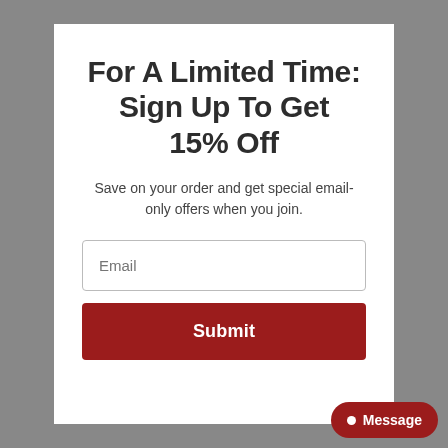For A Limited Time: Sign Up To Get 15% Off
Save on your order and get special email-only offers when you join.
[Figure (screenshot): Email input field with placeholder text 'Email' and a dark red Submit button below it.]
Message